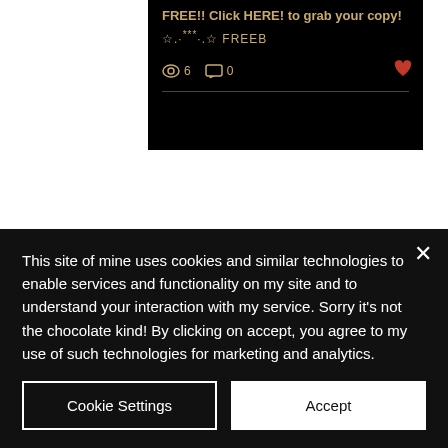[Figure (screenshot): Screenshot of a blog post card on a dark background. Shows post title 'FREE!! Click HERE! to grab your copy!' and subtitle '☆.·***·.☆ FREEB' with view count 6, comment count 0, and a heart icon.]
[Figure (screenshot): Screenshot of a second blog post card showing a thumbnail image strip and author row with avatar, 'Lyssa Cole' name with crown icon, date 'May 17, 2018 · 2 min', and three-dots menu.]
This site of mine uses cookies and similar technologies to enable services and functionality on my site and to understand your interaction with my service. Sorry it's not the chocolate kind! By clicking on accept, you agree to my use of such technologies for marketing and analytics.